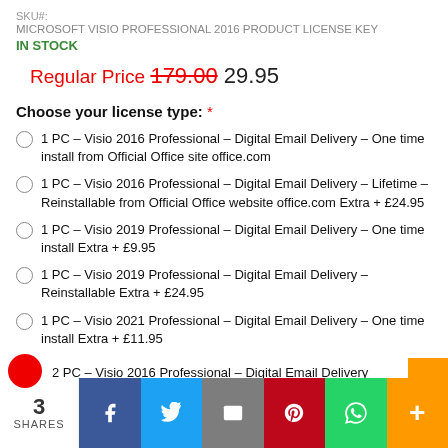SKU#:
MICROSOFT VISIO PROFESSIONAL 2016 PRODUCT LICENSE KEY
IN STOCK
Regular Price 179.00 29.95
Choose your license type: *
1 PC – Visio 2016 Professional – Digital Email Delivery – One time install from Official Office site office.com
1 PC – Visio 2016 Professional – Digital Email Delivery – Lifetime – Reinstallable from Official Office website office.com Extra + £24.95
1 PC – Visio 2019 Professional – Digital Email Delivery – One time install Extra + £9.95
1 PC – Visio 2019 Professional – Digital Email Delivery – Reinstallable Extra + £24.95
1 PC – Visio 2021 Professional – Digital Email Delivery – One time install Extra + £11.95
2 PC – Visio 2016 Professional – Digital Email Delivery
3 SHARES  [Facebook] [Twitter] [Email] [Pinterest] [WhatsApp] [More]